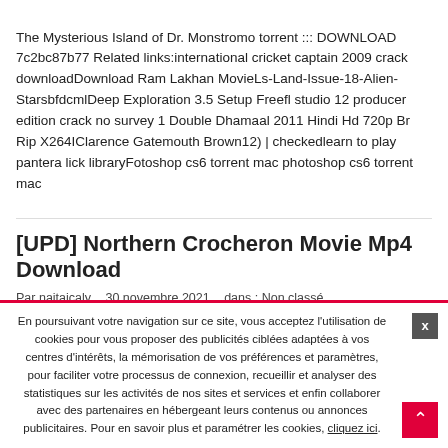The Mysterious Island of Dr. Monstromo torrent ::: DOWNLOAD 7c2bc87b77 Related links:international cricket captain 2009 crack downloadDownload Ram Lakhan MovieLs-Land-Issue-18-Alien-StarsbfdcmlDeep Exploration 3.5 Setup Freefl studio 12 producer edition crack no survey 1 Double Dhamaal 2011 Hindi Hd 720p Br Rip X264IClarence Gatemouth Brown12) | checkedlearn to play pantera lick libraryFotoshop cs6 torrent mac photoshop cs6 torrent mac
[UPD] Northern Crocheron Movie Mp4 Download
Par naitaicaly   30 novembre 2021   dans : Non classé
[Figure (photo): Partial image strip visible at bottom of mid section]
En poursuivant votre navigation sur ce site, vous acceptez l'utilisation de cookies pour vous proposer des publicités ciblées adaptées à vos centres d'intérêts, la mémorisation de vos préférences et paramètres, pour faciliter votre processus de connexion, recueillir et analyser des statistiques sur les activités de nos sites et services et enfin collaborer avec des partenaires en hébergeant leurs contenus ou annonces publicitaires. Pour en savoir plus et paramétrer les cookies, cliquez ici.